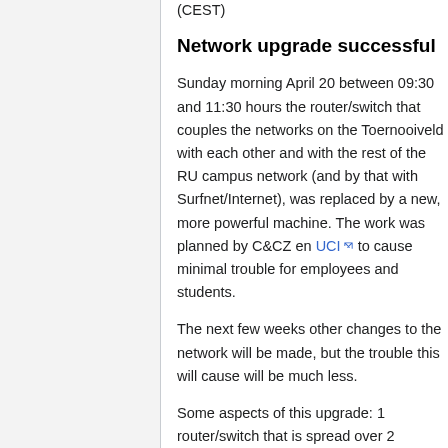(CEST)
Network upgrade successful
Sunday morning April 20 between 09:30 and 11:30 hours the router/switch that couples the networks on the Toernooiveld with each other and with the rest of the RU campus network (and by that with Surfnet/Internet), was replaced by a new, more powerful machine. The work was planned by C&CZ en UCI to cause minimal trouble for employees and students.
The next few weeks other changes to the network will be made, but the trouble this will cause will be much less.
Some aspects of this upgrade: 1 router/switch that is spread over 2 locations, with 10Gb uplinks to the UCI. The router/switch can provide better